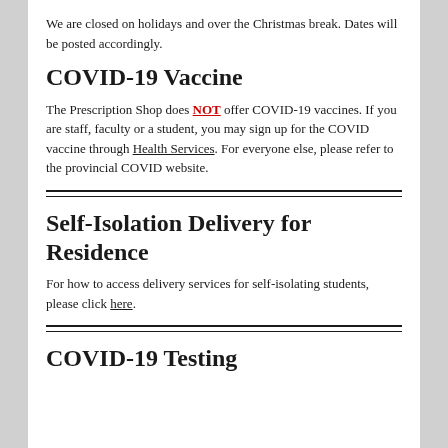We are closed on holidays and over the Christmas break. Dates will be posted accordingly.
COVID-19 Vaccine
The Prescription Shop does NOT offer COVID-19 vaccines. If you are staff, faculty or a student, you may sign up for the COVID vaccine through Health Services. For everyone else, please refer to the provincial COVID website.
Self-Isolation Delivery for Residence
For how to access delivery services for self-isolating students, please click here.
COVID-19 Testing